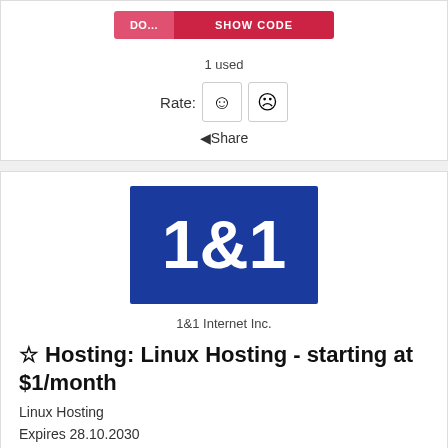1 used
Rate: ☺ ☹
◄ Share
[Figure (logo): 1&1 logo — white text '1&1' on blue background square]
1&1 Internet Inc.
☆ Hosting: Linux Hosting - starting at $1/month
Linux Hosting
Expires 28.10.2030
GET DEAL